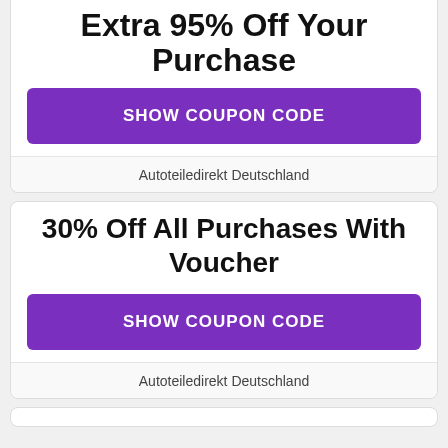Extra 95% Off Your Purchase
SHOW COUPON CODE
Autoteiledirekt Deutschland
30% Off All Purchases With Voucher
SHOW COUPON CODE
Autoteiledirekt Deutschland